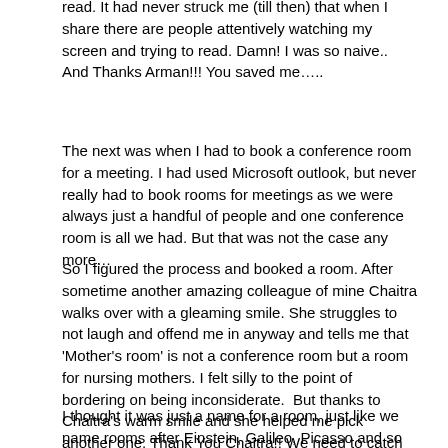read. It had never struck me (till then) that when I share there are people attentively watching my screen and trying to read. Damn! I was so naive.. And Thanks Arman!!! You saved me…..
The next was when I had to book a conference room for a meeting. I had used Microsoft outlook, but never really had to book rooms for meetings as we were always just a handful of people and one conference room is all we had. But that was not the case any more…
So I figured the process and booked a room. After sometime another amazing colleague of mine Chaitra walks over with a gleaming smile. She struggles to not laugh and offend me in anyway and tells me that 'Mother's room' is not a conference room but a room for nursing mothers. I felt silly to the point of bordering on being inconsiderate.  But thanks to Chaitra's warm smile and she helped me pick another one. Thank You Chaitra!! We need to catch up……
I thought it was just a name for a room, just like we name rooms after Einstein, Galileo, Picasso and so on.. If we can name them like that then why not a room after the word 'Mother', After all 'Mother' was the highest mark and over encompassing of all our